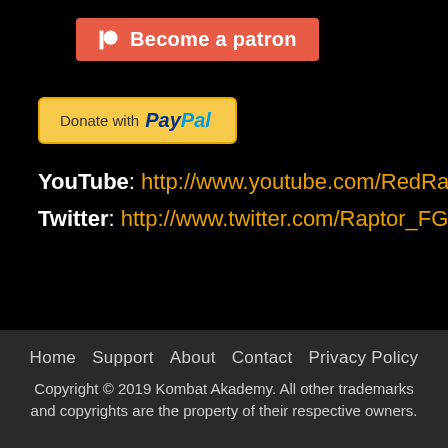[Figure (logo): Patreon 'Become a patron' button with red/coral background, white Patreon logo icon and white text]
[Figure (logo): PayPal 'Donate with PayPal' button with yellow/gold background]
YouTube: http://www.youtube.com/RedRaptor10
Twitter: http://www.twitter.com/Raptor_FGC
Home  Support  About  Contact  Privacy Policy
Copyright © 2019 Kombat Akademy. All other trademarks and copyrights are the property of their respective owners.